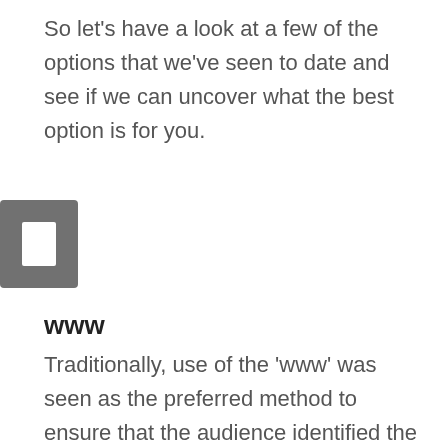So let’s have a look at a few of the options that we’ve seen to date and see if we can uncover what the best option is for you.
[Figure (illustration): A dark grey square icon containing a smaller white square, resembling a document or page icon.]
www
Traditionally, use of the ‘www’ was seen as the preferred method to ensure that the audience identified the text as a domain name. Many will also